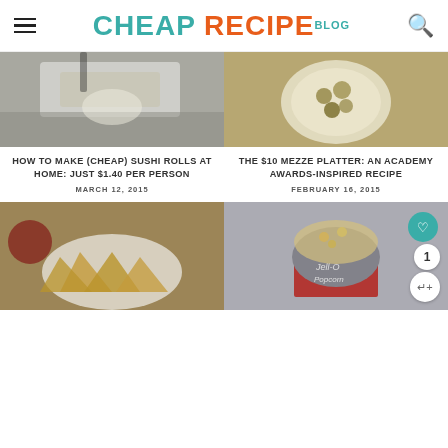CHEAP RECIPE BLOG
HOW TO MAKE (CHEAP) SUSHI ROLLS AT HOME: JUST $1.40 PER PERSON
MARCH 12, 2015
THE $10 MEZZE PLATTER: AN ACADEMY AWARDS-INSPIRED RECIPE
FEBRUARY 16, 2015
[Figure (photo): Grilled sandwich triangles on a decorative plate with jam]
[Figure (photo): Jell-O Popcorn in a tin cup with red base, heart and share buttons visible]